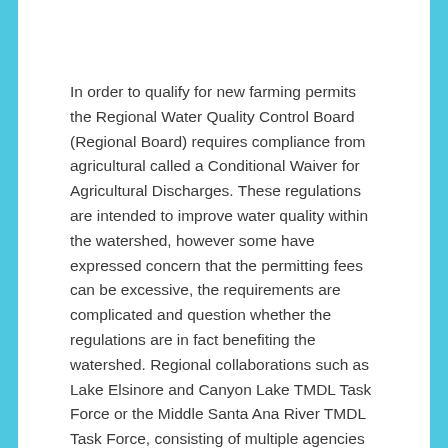In order to qualify for new farming permits the Regional Water Quality Control Board (Regional Board) requires compliance from agricultural called a Conditional Waiver for Agricultural Discharges. These regulations are intended to improve water quality within the watershed, however some have expressed concern that the permitting fees can be excessive, the requirements are complicated and question whether the regulations are in fact benefiting the watershed. Regional collaborations such as Lake Elsinore and Canyon Lake TMDL Task Force or the Middle Santa Ana River TMDL Task Force, consisting of multiple agencies and organizations responsible for the TMDL compliance, have been formed by the Santa Ana Watershed Project Authority to play an important role in finding effective solutions to protect drinking water resources. In partnership with the Regional Board, the need for such plans to address the